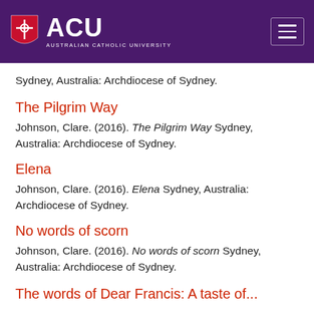[Figure (logo): ACU Australian Catholic University logo with shield on purple header background, plus hamburger menu icon]
Sydney, Australia: Archdiocese of Sydney.
The Pilgrim Way
Johnson, Clare. (2016). The Pilgrim Way Sydney, Australia: Archdiocese of Sydney.
Elena
Johnson, Clare. (2016). Elena Sydney, Australia: Archdiocese of Sydney.
No words of scorn
Johnson, Clare. (2016). No words of scorn Sydney, Australia: Archdiocese of Sydney.
The words of Dear Francis: A taste of...